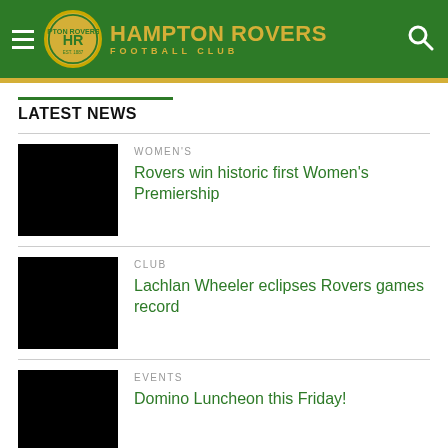Hampton Rovers Football Club
LATEST NEWS
WOMEN'S
Rovers win historic first Women's Premiership
CLUB
Lachlan Wheeler eclipses Rovers games record
EVENTS
Domino Luncheon this Friday!